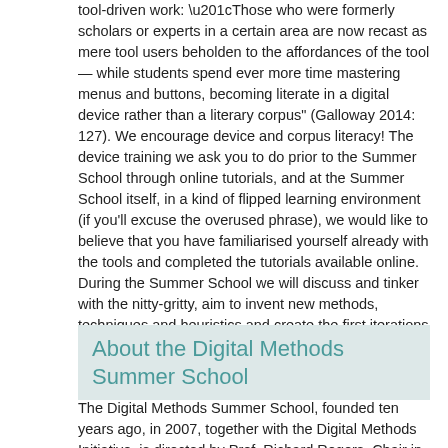tool-driven work: “Those who were formerly scholars or experts in a certain area are now recast as mere tool users beholden to the affordances of the tool — while students spend ever more time mastering menus and buttons, becoming literate in a digital device rather than a literary corpus” (Galloway 2014: 127). We encourage device and corpus literacy! The device training we ask you to do prior to the Summer School through online tutorials, and at the Summer School itself, in a kind of flipped learning environment (if you'll excuse the overused phrase), we would like to believe that you have familiarised yourself already with the tools and completed the tutorials available online. During the Summer School we will discuss and tinker with the nitty-gritty, aim to invent new methods, techniques and heuristics and create the first iterations of compelling work to be shared.
About the Digital Methods Summer School
The Digital Methods Summer School, founded ten years ago, in 2007, together with the Digital Methods Initiative, is directed by Prof. Richard Rogers, Chair in New Media & Digital Culture